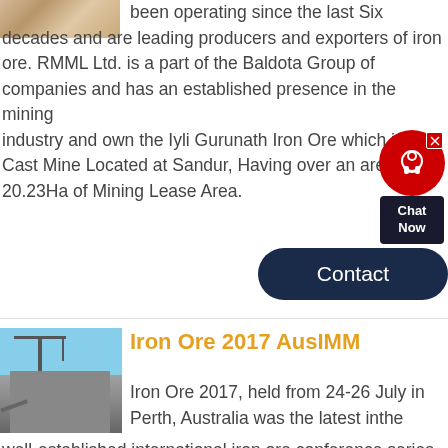[Figure (photo): Partial image of rocks or ore material at top left corner]
been operating since the last Six decades and are leading producers and exporters of iron ore. RMML Ltd. is a part of the Baldota Group of companies and has an established presence in the mining industry and own the Iyli Gurunath Iron Ore which is Open Cast Mine Located at Sandur, Having over an area 20.23Ha of Mining Lease Area.
[Figure (other): Chat Now widget with red circle icon and dark box]
[Figure (other): Contact button - dark navy rounded rectangle]
[Figure (photo): Industrial mining facility with cranes and conveyor belts against a blue sky]
Iron Ore 2017 AusIMM
Iron Ore 2017, held from 24-26 July in Perth, Australia was the latest inthe well-established international iron ore conference series